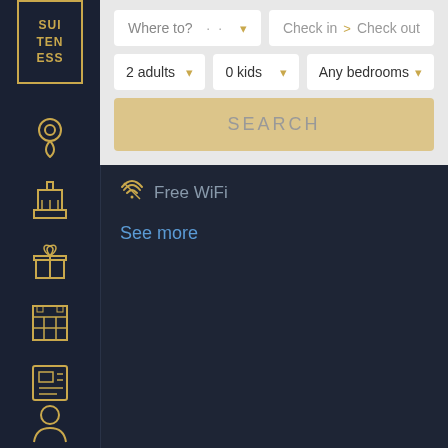[Figure (logo): Suiteness logo with gold border, text SUI TEN ESS]
[Figure (illustration): Location pin icon in gold]
[Figure (illustration): Tower/building icon in gold]
[Figure (illustration): Gift/present icon in gold]
[Figure (illustration): Grid/calendar icon in gold]
[Figure (illustration): Document/list icon in gold]
Where to? · · ▾
Check in > Check out
2 adults ▾
0 kids ▾
Any bedrooms ▾
SEARCH
[Figure (illustration): WiFi with strike-through icon in gold]
Free WiFi
See more
[Figure (illustration): User/person icon in gold]